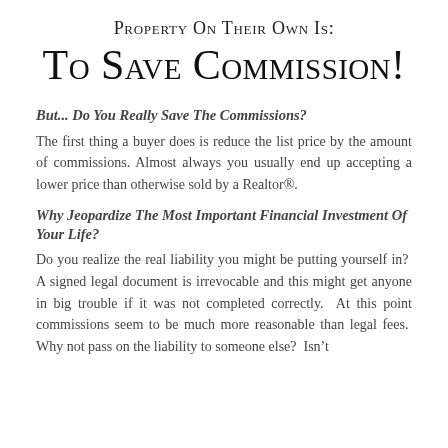Property On Their Own Is:
To Save Commission!
But... Do You Really Save The Commissions?
The first thing a buyer does is reduce the list price by the amount of commissions. Almost always you usually end up accepting a lower price than otherwise sold by a Realtor®.
Why Jeopardize The Most Important Financial Investment Of Your Life?
Do you realize the real liability you might be putting yourself in?  A signed legal document is irrevocable and this might get anyone in big trouble if it was not completed correctly.  At this point commissions seem to be much more reasonable than legal fees.  Why not pass on the liability to someone else?  Isn’t